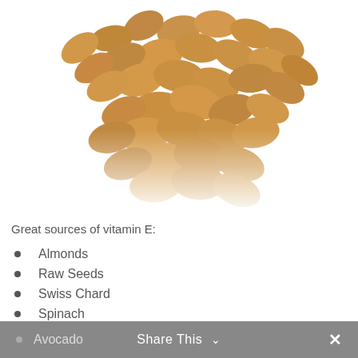[Figure (photo): A pile of raw almonds photographed from above on a white background, cropped to show the top portion.]
Great sources of vitamin E:
Almonds
Raw Seeds
Swiss Chard
Spinach
Turnip Greens
Kale
Plant Oils
Hazel Nuts
Pine Nuts
Avocado
Share This  ×